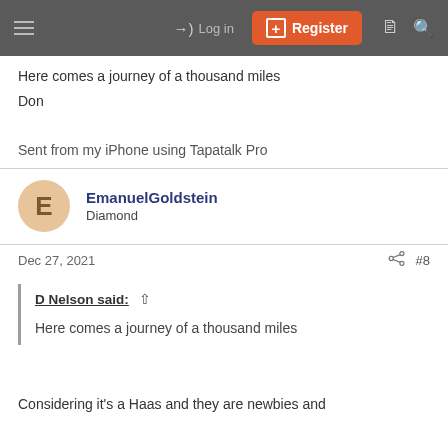Log in | Register
Here comes a journey of a thousand miles
Don
Sent from my iPhone using Tapatalk Pro
EmanuelGoldstein
Diamond
Dec 27, 2021  #8
D Nelson said: ↑
Here comes a journey of a thousand miles
Considering it's a Haas and they are newbies and